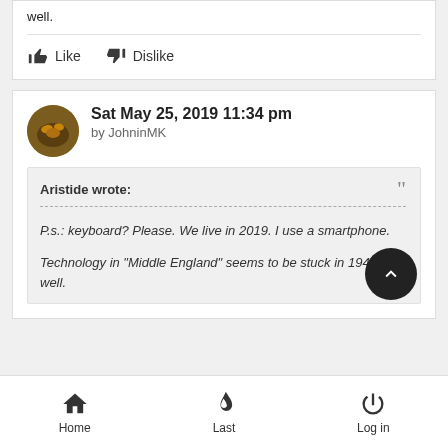well.
Like  Dislike
Sat May 25, 2019 11:34 pm by JohninMK
Aristide wrote:
P.s.: keyboard? Please. We live in 2019. I use a smartphone.

Technology in "Middle England" seems to be stuck in 1942 as well.
Home  Last  Log in